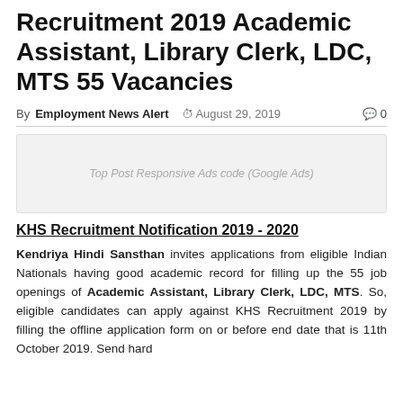Recruitment 2019 Academic Assistant, Library Clerk, LDC, MTS 55 Vacancies
By Employment News Alert  August 29, 2019  0
[Figure (other): Top Post Responsive Ads code (Google Ads) placeholder box]
KHS Recruitment Notification 2019 - 2020
Kendriya Hindi Sansthan invites applications from eligible Indian Nationals having good academic record for filling up the 55 job openings of Academic Assistant, Library Clerk, LDC, MTS. So, eligible candidates can apply against KHS Recruitment 2019 by filling the offline application form on or before end date that is 11th October 2019. Send hard